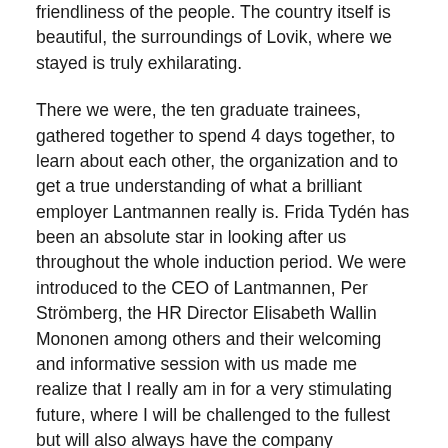friendliness of the people. The country itself is beautiful, the surroundings of Lovik, where we stayed is truly exhilarating.
There we were, the ten graduate trainees, gathered together to spend 4 days together, to learn about each other, the organization and to get a true understanding of what a brilliant employer Lantmannen really is. Frida Tydén has been an absolute star in looking after us throughout the whole induction period. We were introduced to the CEO of Lantmannen, Per Strömberg, the HR Director Elisabeth Wallin Mononen among others and their welcoming and informative session with us made me realize that I really am in for a very stimulating future, where I will be challenged to the fullest but will also always have the company supporting me at each stage of my development. How thrilling!
Now that I am three weeks into my first placement at Lantmannen Unibake UK and am progressing towards my goal of implementing a new cost analysis system into the